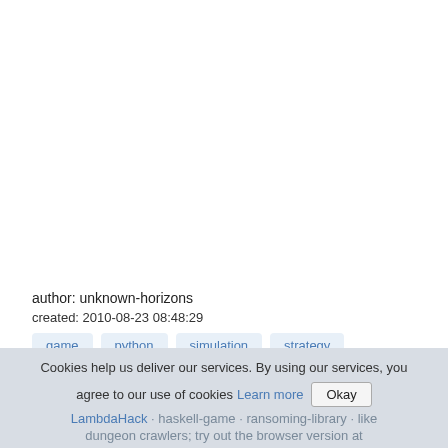author: unknown-horizons
created: 2010-08-23 08:48:29
game
python
simulation
strategy
Cookies help us deliver our services. By using our services, you agree to our use of cookies Learn more Okay
LambdaHack · haskell-game · ransoming-library · like dungeon crawlers; try out the browser version at